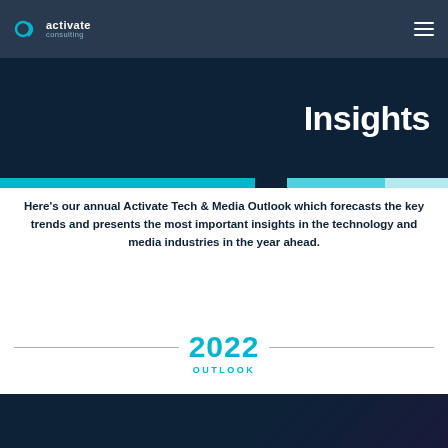activate consulting
Insights
Here’s our annual Activate Tech & Media Outlook which forecasts the key trends and presents the most important insights in the technology and media industries in the year ahead.
2022 OUTLOOK